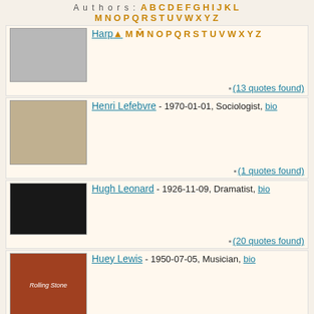Authors: A B C D E F G H I J K L M N O P Q R S T U V W X Y Z
Harper Lee - (13 quotes found)
Henri Lefebvre - 1970-01-01, Sociologist, bio (1 quotes found)
Hugh Leonard - 1926-11-09, Dramatist, bio (20 quotes found)
Huey Lewis - 1950-07-05, Musician, bio (25 quotes found)
Hal Linden - 1931-03-20, Actor, bio (3 quotes found)
Howard Lindsay - 1970-01-01, Producer, bio (2 quotes found)
[Figure (photo): Blank white placeholder image at bottom left]